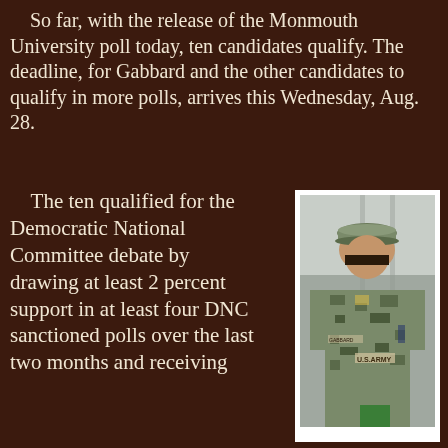So far, with the release of the Monmouth University poll today, ten candidates qualify. The deadline, for Gabbard and the other candidates to qualify in more polls, arrives this Wednesday, Aug. 28.
The ten qualified for the Democratic National Committee debate by drawing at least 2 percent support in at least four DNC sanctioned polls over the last two months and receiving
[Figure (photo): A woman in U.S. Army camouflage uniform and patrol cap, seated, with 'U.S. ARMY' text visible on her uniform.]